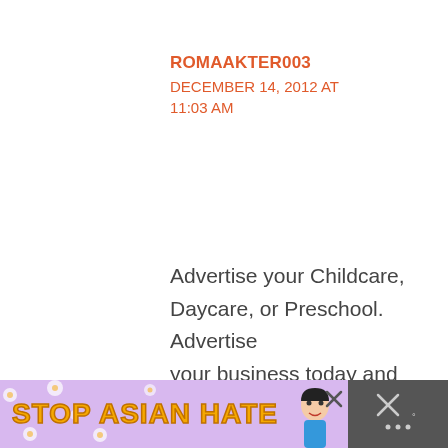ROMAAKTER003
DECEMBER 14, 2012 AT 11:03 AM
Advertise your Childcare, Daycare, or Preschool. Advertise your business today and grow your client base.
please follow this link
[Figure (screenshot): Stop Asian Hate advertisement banner at the bottom of the page, with purple/lavender background, flower decorations, yellow-orange bold text reading 'STOP ASIAN HATE', a cartoon female character, and an X close button. To the right is a dark gray panel with an X and a menu icon.]